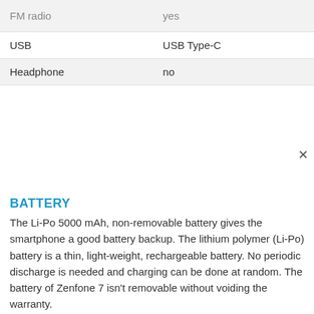| FM radio | yes |
| USB | USB Type-C |
| Headphone | no |
BATTERY
The Li-Po 5000 mAh, non-removable battery gives the smartphone a good battery backup. The lithium polymer (Li-Po) battery is a thin, light-weight, rechargeable battery. No periodic discharge is needed and charging can be done at random. The battery of Zenfone 7 isn't removable without voiding the warranty.